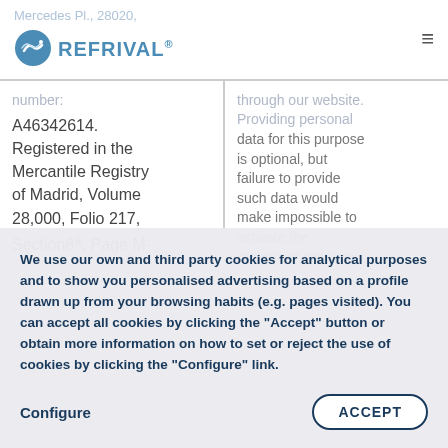[Figure (logo): Refrival logo with stylized fish/wave icon in blue and company name REFRIVAL in blue text]
Mercedes Pl., 28020, number: A46342614. Registered in the Mercantile Registry of Madrid, Volume 28,000, Folio 217, Section8ª, Page M-504621, 2nd entry.
data for this purpose is optional, but failure to provide such data would make impossible to activate the requested services.
Sending commercial
We use our own and third party cookies for analytical purposes and to show you personalised advertising based on a profile drawn up from your browsing habits (e.g. pages visited). You can accept all cookies by clicking the "Accept" button or obtain more information on how to set or reject the use of cookies by clicking the "Configure" link.
Configure
ACCEPT